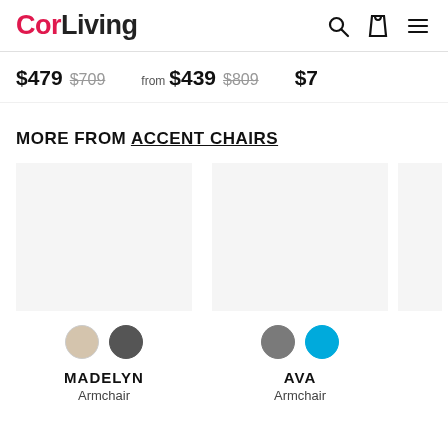CorLiving
$479 $709   from $439 $809   $7...
MORE FROM ACCENT CHAIRS
[Figure (other): Product card for Madelyn Armchair with beige and dark gray color swatches]
MADELYN
Armchair
[Figure (other): Product card for Ava Armchair with gray and cyan color swatches]
AVA
Armchair